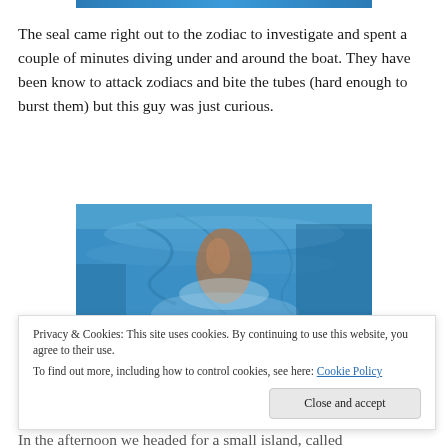[Figure (photo): Top strip of a blue water/aquatic photo, partially cropped at the very top of the page]
The seal came right out to the zodiac to investigate and spent a couple of minutes diving under and around the boat. They have been know to attack zodiacs and bite the tubes (hard enough to burst them) but this guy was just curious.
[Figure (photo): Underwater photo showing a seal or marine animal submerged in blue water, viewed from above, with swirling water patterns around it]
Privacy & Cookies: This site uses cookies. By continuing to use this website, you agree to their use.
To find out more, including how to control cookies, see here: Cookie Policy
In the afternoon we headed for a small island, called